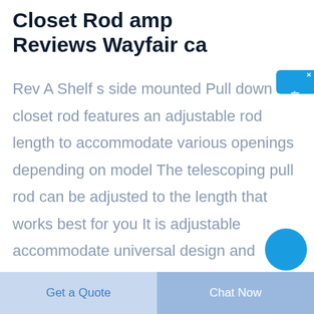Closet Rod amp Reviews Wayfair ca
Rev A Shelf s side mounted Pull down closet rod features an adjustable rod length to accommodate various openings depending on model The telescoping pull rod can be adjusted to the length that works best for you It is adjustable accommodate universal design and handicap accessible applications Minimum of 14 inches of
[Figure (screenshot): Partial blue circle icon visible at bottom right of text area]
Get a Quote
Chat Now